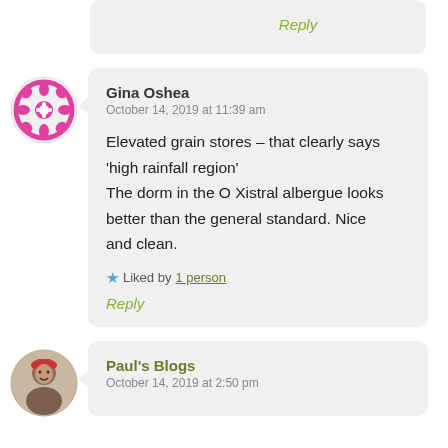Reply
Gina Oshea
October 14, 2019 at 11:39 am

Elevated grain stores – that clearly says 'high rainfall region'
The dorm in the O Xistral albergue looks better than the general standard. Nice and clean.

★ Liked by 1 person

Reply
Paul's Blogs
October 14, 2019 at 2:50 pm